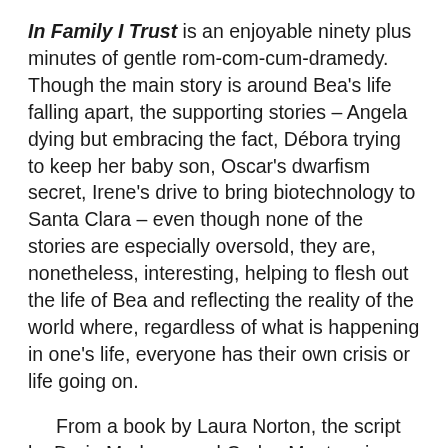In Family I Trust is an enjoyable ninety plus minutes of gentle rom-com-cum-dramedy. Though the main story is around Bea's life falling apart, the supporting stories – Angela dying but embracing the fact, Débora trying to keep her baby son, Oscar's dwarfism secret, Irene's drive to bring biotechnology to Santa Clara – even though none of the stories are especially oversold, they are, nonetheless, interesting, helping to flesh out the life of Bea and reflecting the reality of the world where, regardless of what is happening in one's life, everyone has their own crisis or life going on.
From a book by Laura Norton, the script by Dario Madrona and Carlos Montero is funny and clever, taking a multilayered story and making it easy to follow. It is funny and touching, whilst still allowing each character to be distinguishable.